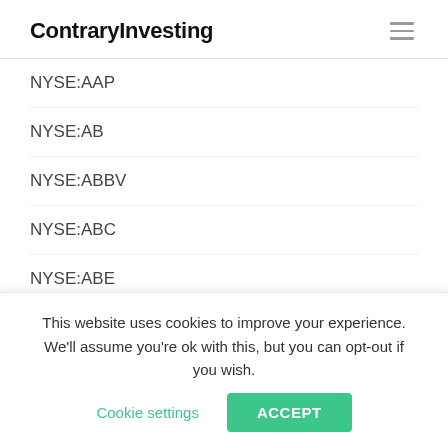ContraryInvesting
NYSE:AAP
NYSE:AB
NYSE:ABBV
NYSE:ABC
NYSE:ABE
NYSE:ABR
NYSE:ABT
NYSE:ACC
NYSE:ACP
This website uses cookies to improve your experience. We'll assume you're ok with this, but you can opt-out if you wish. Cookie settings ACCEPT